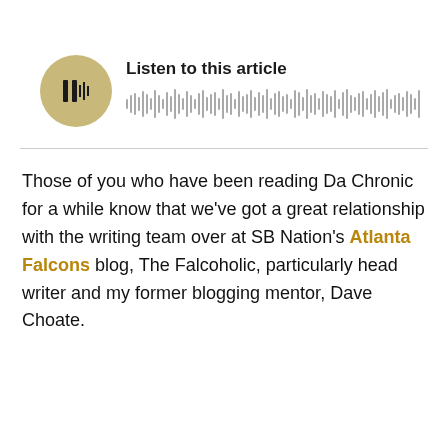[Figure (other): Audio player widget with a circular tan/gold play button showing a play icon, and a waveform visualization to the right with the label 'Listen to this article' above it.]
Those of you who have been reading Da Chronic for a while know that we've got a great relationship with the writing team over at SB Nation's Atlanta Falcons blog, The Falcoholic, particularly head writer and my former blogging mentor, Dave Choate.